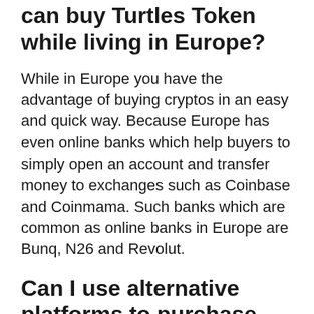can buy Turtles Token while living in Europe?
While in Europe you have the advantage of buying cryptos in an easy and quick way. Because Europe has even online banks which help buyers to simply open an account and transfer money to exchanges such as Coinbase and Coinmama. Such banks which are common as online banks in Europe are Bunq, N26 and Revolut.
Can I use alternative platforms to purchase Turtles Token or Bitcoin with credit cards?
Yes you can, you just need to visit Changelly which an easy to trade in site especially